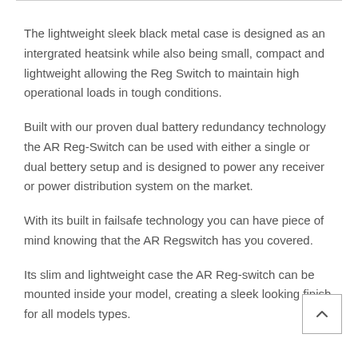The lightweight sleek black metal case is designed as an intergrated heatsink while also being small, compact and lightweight allowing the Reg Switch to maintain high operational loads in tough conditions.
Built with our proven dual battery redundancy technology the AR Reg-Switch can be used with either a single or dual bettery setup and is designed to power any receiver or power distribution system on the market.
With its built in failsafe technology you can have piece of mind knowing that the AR Regswitch has you covered.
Its slim and lightweight case the AR Reg-switch can be mounted inside your model, creating a sleek looking finish for all models types.